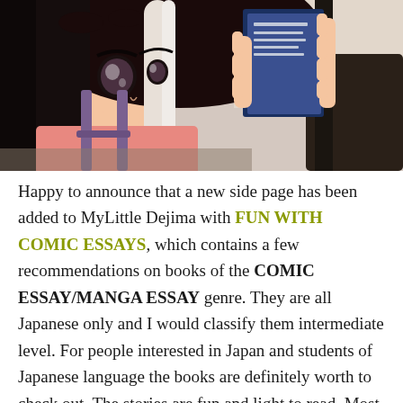[Figure (illustration): Anime/manga style illustration of a girl with long black hair and hair ribbons, reading a book, seated at a table. She is wearing a pink top with suspenders. The image is cropped to show her from approximately the waist up.]
Happy to announce that a new side page has been added to MyLittle Dejima with FUN WITH COMIC ESSAYS, which contains a few recommendations on books of the COMIC ESSAY/MANGA ESSAY genre. They are all Japanese only and I would classify them intermediate level. For people interested in Japan and students of Japanese language the books are definitely worth to check out. The stories are fun and light to read. Most of